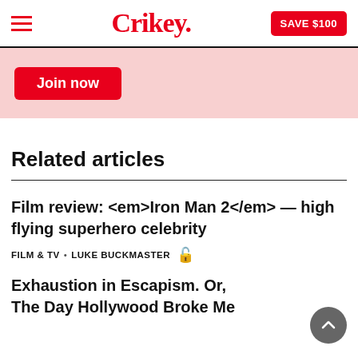Crikey.
[Figure (other): Join now promotional banner with pink background and red button]
Related articles
Film review: <em>Iron Man 2</em> — high flying superhero celebrity
FILM & TV • LUKE BUCKMASTER 🔓
Exhaustion in Escapism. Or, The Day Hollywood Broke Me